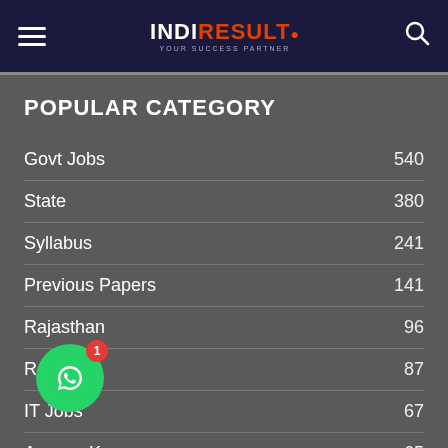IndiResult - Your Success Partner
POPULAR CATEGORY
Govt Jobs  540
State  380
Syllabus  241
Previous Papers  141
Rajasthan  96
Results  87
IT Jobs  67
Answer Key  65
62
[Figure (other): WhatsApp floating button with badge showing 1 notification]